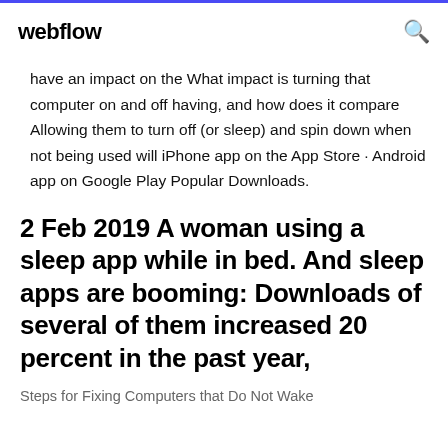webflow
have an impact on the What impact is turning that computer on and off having, and how does it compare Allowing them to turn off (or sleep) and spin down when not being used will iPhone app on the App Store · Android app on Google Play Popular Downloads.
2 Feb 2019 A woman using a sleep app while in bed. And sleep apps are booming: Downloads of several of them increased 20 percent in the past year,
Steps for Fixing Computers that Do Not Wake